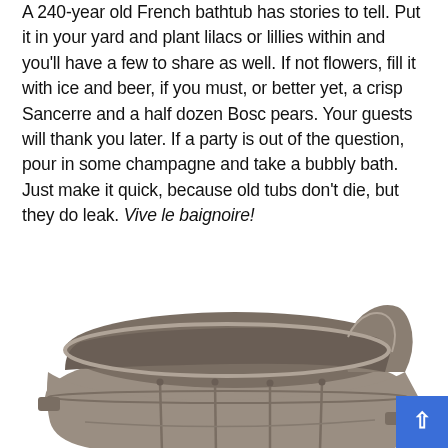A 240-year old French bathtub has stories to tell. Put it in your yard and plant lilacs or lillies within and you'll have a few to share as well. If not flowers, fill it with ice and beer, if you must, or better yet, a crisp Sancerre and a half dozen Bosc pears. Your guests will thank you later. If a party is out of the question, pour in some champagne and take a bubbly bath. Just make it quick, because old tubs don't die, but they do leak. Vive le baignoire!
[Figure (photo): An antique French zinc bathtub, approximately 240 years old, with a sloped back and metal riveted construction, shown from a slightly elevated angle against a white background. A blue scroll-to-top button appears in the bottom right corner.]